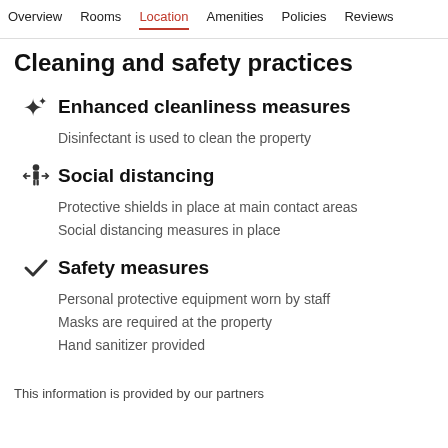Overview  Rooms  Location  Amenities  Policies  Reviews
Cleaning and safety practices
Enhanced cleanliness measures
Disinfectant is used to clean the property
Social distancing
Protective shields in place at main contact areas
Social distancing measures in place
Safety measures
Personal protective equipment worn by staff
Masks are required at the property
Hand sanitizer provided
This information is provided by our partners